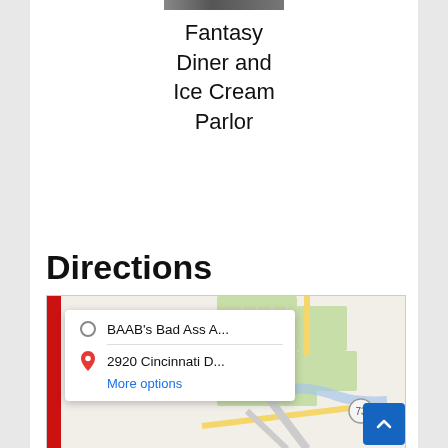[Figure (photo): Partial photo strip at top of page showing a restaurant/diner exterior]
Fantasy Diner and Ice Cream Parlor
Directions
[Figure (map): Google Maps embedded directions map showing route from BAAB's Bad Ass A... to 2920 Cincinnati D..., with a route overlay and road 73 visible. A direction card overlay shows origin and destination with a 'More options' link.]